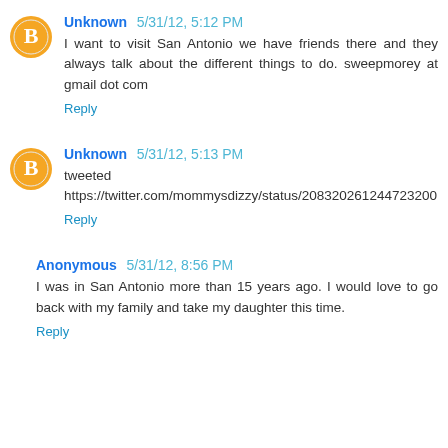Unknown 5/31/12, 5:12 PM
I want to visit San Antonio we have friends there and they always talk about the different things to do. sweepmorey at gmail dot com
Reply
Unknown 5/31/12, 5:13 PM
tweeted
https://twitter.com/mommysdizzy/status/208320261244723200
Reply
Anonymous 5/31/12, 8:56 PM
I was in San Antonio more than 15 years ago. I would love to go back with my family and take my daughter this time.
Reply